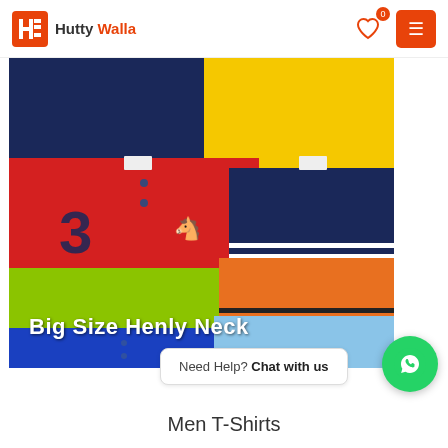Hutty Walla
[Figure (photo): Product photo showing multiple colored polo/henley neck t-shirts folded and stacked: navy, yellow, red with number 3, lime green, blue, navy with white stripes, orange with dark stripes, light blue. Text overlay reads 'Big Size Henly Neck']
Need Help? Chat with us
Men T-Shirts